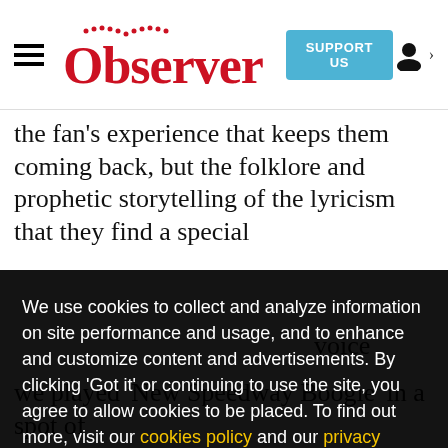Observer — SUPPORT US — [user icon]
the fan's experience that keeps them coming back, but the folklore and prophetic storytelling of the lyricism that they find a special voice ... 4 ... ew ... t, and ... hrow. ... ots ... to ... ng, so we played 'New Speedway Boogie' in a spot of
We use cookies to collect and analyze information on site performance and usage, and to enhance and customize content and advertisements. By clicking 'Got it' or continuing to use the site, you agree to allow cookies to be placed. To find out more, visit our cookies policy and our privacy policy.
Got it!
we played 'New Speedway Boogie' in a spot of